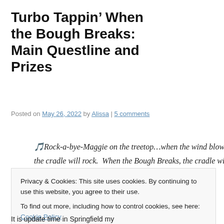Turbo Tappin’ When the Bough Breaks: Main Questline and Prizes
Posted on May 26, 2022 by Alissa | 5 comments
🎵 Rock-a-bye-Maggie on the treetop…when the wind blows the cradle will rock.  When the Bough Breaks, the cradle will fall.  And down will come
Privacy & Cookies: This site uses cookies. By continuing to use this website, you agree to their use.
To find out more, including how to control cookies, see here: Cookie Policy
Close and accept
It is update time in Springfield my